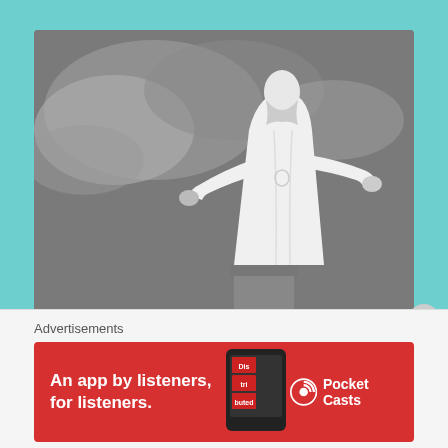[Figure (photo): Black and white photograph of a Jesus Christ statue with arms outstretched against a cloudy sky]
If you want to do anything in this world , there is a prerequisite one requirement that is expected . Many
Advertisements
[Figure (illustration): Red advertisement banner for Pocket Casts app: 'An app by listeners, for listeners.' with Pocket Casts logo and phone image showing 'Distributed' text]